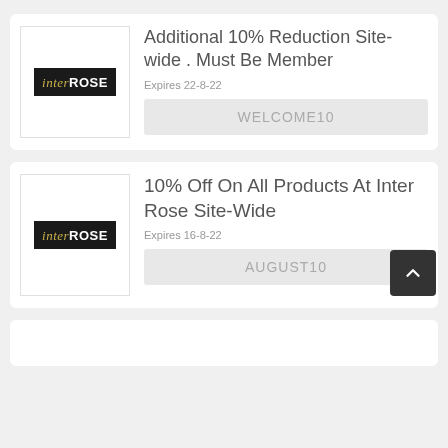Additional 10% Reduction Site-wide . Must Be Member
Expires 22-8-22
WELCOME10
10% Off On All Products At Inter Rose Site-Wide
Expires 16-8-22
AUGUST10